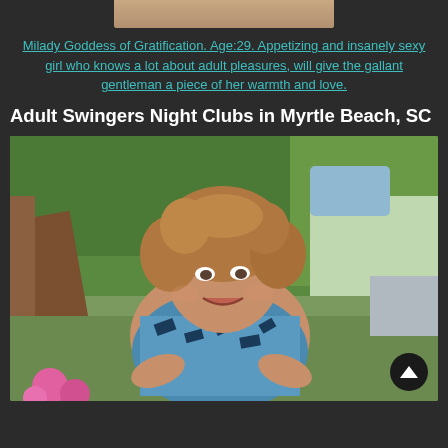[Figure (photo): Partial top image cropped at top of page, small thumbnail visible]
Milady Goddess of Gratification. Age:29. Appetizing and insanely sexy girl who knows a lot about adult pleasures, will give the gallant gentleman a piece of her warmth and love.
Adult Swingers Night Clubs in Myrtle Beach, SC
[Figure (photo): Woman with curly blonde-brown hair, smiling, wearing a blue and white patterned top, outdoors with green trees in background, pink flowers in foreground]